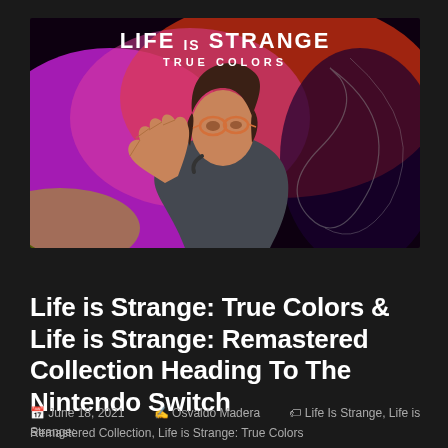[Figure (illustration): Life is Strange: True Colors promotional artwork showing a young woman with short dark hair and round glasses reaching out toward the viewer, set against a vivid purple and red cosmic/smoke background. The game title 'LIFE IS STRANGE' and 'TRUE COLORS' is displayed in large white text at the top of the image.]
Gaming
Life is Strange: True Colors & Life is Strange: Remastered Collection Heading To The Nintendo Switch
June 18, 2021   Osvaldo Madera   Life Is Strange, Life is Strange: Remastered Collection, Life is Strange: True Colors